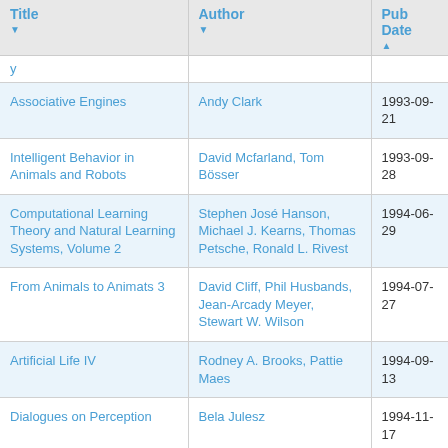| Title | Author | Pub Date |
| --- | --- | --- |
| [partial] |  |  |
| Associative Engines | Andy Clark | 1993-09-21 |
| Intelligent Behavior in Animals and Robots | David Mcfarland, Tom Bösser | 1993-09-28 |
| Computational Learning Theory and Natural Learning Systems, Volume 2 | Stephen José Hanson, Michael J. Kearns, Thomas Petsche, Ronald L. Rivest | 1994-06-29 |
| From Animals to Animats 3 | David Cliff, Phil Husbands, Jean-Arcady Meyer, Stewart W. Wilson | 1994-07-27 |
| Artificial Life IV | Rodney A. Brooks, Pattie Maes | 1994-09-13 |
| Dialogues on Perception | Bela Julesz | 1994-11-17 |
| [partial] |  | 1995-... |